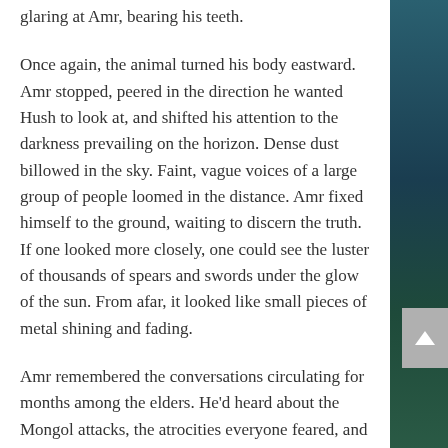glaring at Amr, bearing his teeth.
Once again, the animal turned his body eastward. Amr stopped, peered in the direction he wanted Hush to look at, and shifted his attention to the darkness prevailing on the horizon. Dense dust billowed in the sky. Faint, vague voices of a large group of people loomed in the distance. Amr fixed himself to the ground, waiting to discern the truth. If one looked more closely, one could see the luster of thousands of spears and swords under the glow of the sun. From afar, it looked like small pieces of metal shining and fading.
Amr remembered the conversations circulating for months among the elders. He'd heard about the Mongol attacks, the atrocities everyone feared, and the cruelty of their leader, Tamerlane, who had reached the status of Satan. Tamerlane's savagery knew no end;